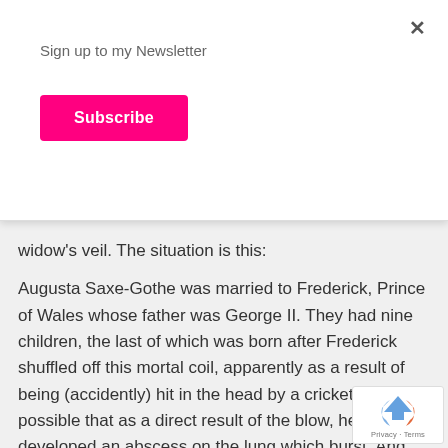Sign up to my Newsletter
Subscribe
widow's veil. The situation is this:
Augusta Saxe-Gothe was married to Frederick, Prince of Wales whose father was George II. They had nine children, the last of which was born after Frederick shuffled off this mortal coil, apparently as a result of being (accidently) hit in the head by a cricket ball. It's possible that as a direct result of the blow, he developed an abscess on the lung which burst. And that was